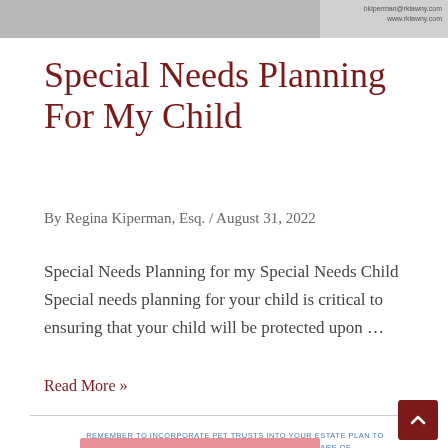[Figure (photo): Top portion of a photo showing documents/plans, partially visible at top of page. Small text visible at right: bkiperman@rklawny.com and www.rklawny.com]
Special Needs Planning For My Child
By Regina Kiperman, Esq. / August 31, 2022
Special Needs Planning for my Special Needs Child Special needs planning for your child is critical to ensuring that your child will be protected upon ...
Read More »
REMEMBER TO INCORPORATE PET TRUSTS INTO YOUR ESTATE PLAN TO MAKE SURE YOUR FURRY FRIENDS ARE TAKEN CARE OF